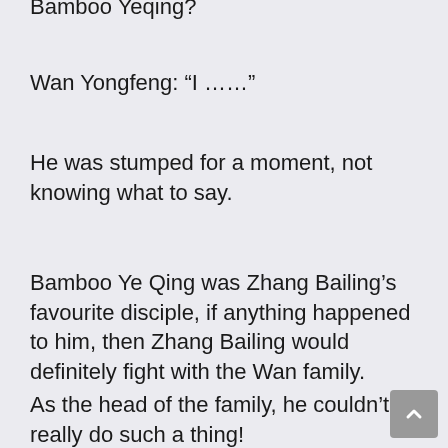Bamboo Yeqing?
Wan Yongfeng: “I ……”
He was stumped for a moment, not knowing what to say.
Bamboo Ye Qing was Zhang Bailing’s favourite disciple, if anything happened to him, then Zhang Bailing would definitely fight with the Wan family.
As the head of the family, he couldn’t really do such a thing!